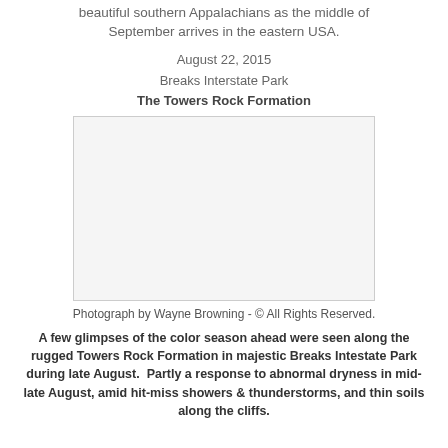beautiful southern Appalachians as the middle of September arrives in the eastern USA.
August 22, 2015
Breaks Interstate Park
The Towers Rock Formation
[Figure (photo): Photograph of The Towers Rock Formation at Breaks Interstate Park, appearing as a blank/white image placeholder]
Photograph by Wayne Browning - © All Rights Reserved.
A few glimpses of the color season ahead were seen along the rugged Towers Rock Formation in majestic Breaks Intestate Park during late August.  Partly a response to abnormal dryness in mid-late August, amid hit-miss showers & thunderstorms, and thin soils along the cliffs.